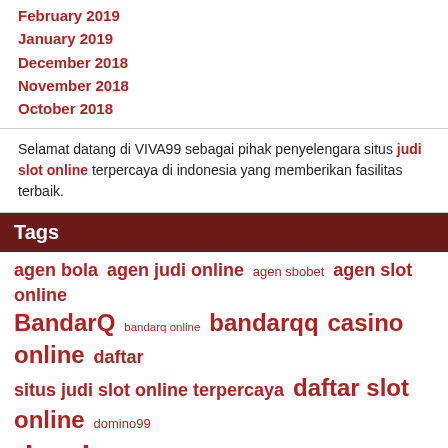February 2019
January 2019
December 2018
November 2018
October 2018
Selamat datang di VIVA99 sebagai pihak penyelengara situs judi slot online terpercaya di indonesia yang memberikan fasilitas terbaik.
Tags
agen bola agen judi online agen sbobet agen slot online BandarQ bandarq online bandarqq casino online daftar situs judi slot online terpercaya daftar slot online domino99 dominoqq dominoqq online Game Slot Online judi bola Judi Bola Online judi online judi online terpercaya Judi Slot Judi Slot Online pkv games poker online Pokerqq qq online sbobet Situs Judi Bola Situs